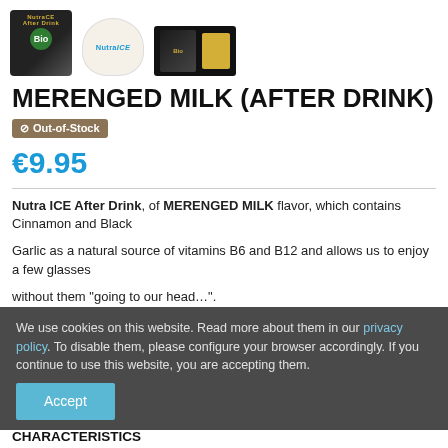[Figure (photo): Three product images: a dark Bio-labeled package, a Nutra ICE cup, and a black package with small accessories]
MERENGED MILK (AFTER DRINK)
Out-of-Stock
€9.95
Nutra ICE After Drink, of MERENGED MILK flavor, which contains Cinnamon and Black Garlic as a natural source of vitamins B6 and B12 and allows us to enjoy a few glasses without them "going to our head…".
We use cookies on this website. Read more about them in our privacy policy. To disable them, please configure your browser accordingly. If you continue to use this website, you are accepting them. Accept
CHARACTERISTICS